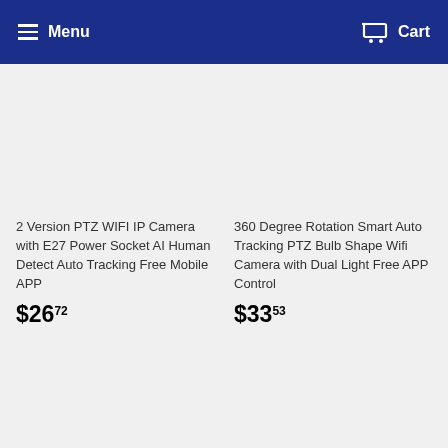Menu  Cart
2 Version PTZ WIFI IP Camera with E27 Power Socket AI Human Detect Auto Tracking Free Mobile APP
$26.72
360 Degree Rotation Smart Auto Tracking PTZ Bulb Shape Wifi Camera with Dual Light Free APP Control
$33.53